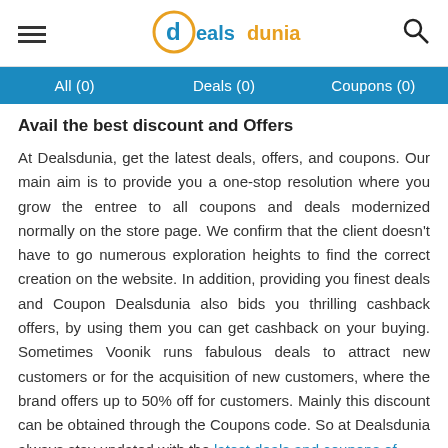dealsdunia
All (0)   Deals (0)   Coupons (0)
Avail the best discount and Offers
At Dealsdunia, get the latest deals, offers, and coupons. Our main aim is to provide you a one-stop resolution where you grow the entree to all coupons and deals modernized normally on the store page. We confirm that the client doesn't have to go numerous exploration heights to find the correct creation on the website. In addition, providing you finest deals and Coupon Dealsdunia also bids you thrilling cashback offers, by using them you can get cashback on your buying. Sometimes Voonik runs fabulous deals to attract new customers or for the acquisition of new customers, where the brand offers up to 50% off for customers. Mainly this discount can be obtained through the Coupons code. So at Dealsdunia always stay updated with the latest deals and coupons of